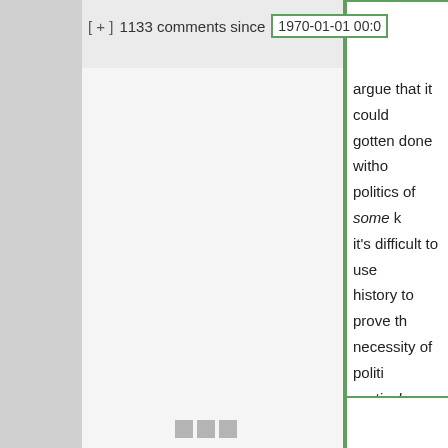[ + ] 1133 comments since 1970-01-01 00:0
argue that it could gotten done without politics of some k it's difficult to use history to prove th necessity of politic particular kind, an especially of gove initiatives similar t There are certainl where large logist systems have bee bootstrapped with significant govern investment.
Hide 1